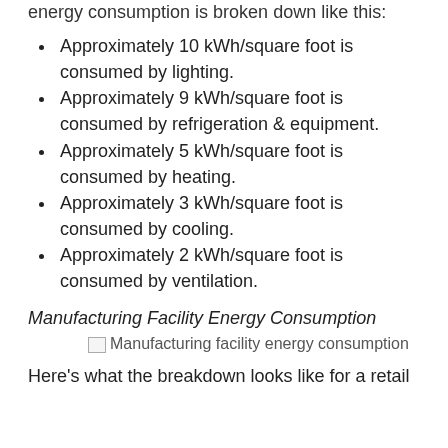energy consumption is broken down like this:
Approximately 10 kWh/square foot is consumed by lighting.
Approximately 9 kWh/square foot is consumed by refrigeration & equipment.
Approximately 5 kWh/square foot is consumed by heating.
Approximately 3 kWh/square foot is consumed by cooling.
Approximately 2 kWh/square foot is consumed by ventilation.
Manufacturing Facility Energy Consumption
[Figure (photo): Manufacturing facility energy consumption image placeholder]
Here's what the breakdown looks like for a retail building: